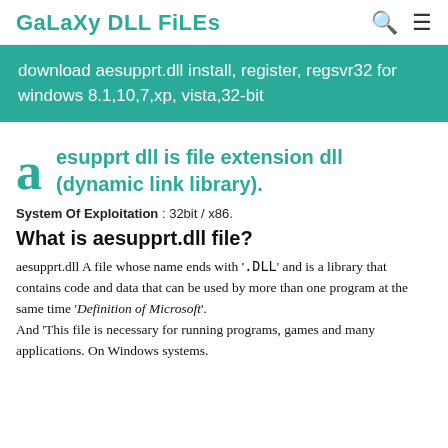GaLaXy DLL FiLEs
download aesupprt.dll install, register, regsvr32 for windows 8.1,10,7,xp, vista,32-bit
esupprt dll is file extension dll (dynamic link library).
System Of Exploitation : 32bit / x86.
What is aesupprt.dll file?
aesupprt.dll A file whose name ends with '.DLL' and is a library that contains code and data that can be used by more than one program at the same time 'Definition of Microsoft'. And 'This file is necessary for running programs, games and many applications. On Windows systems.